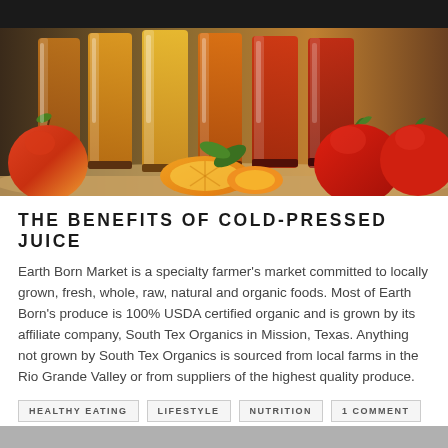[Figure (photo): Colorful fruit juices in tall glasses lined up, with fresh fruits including apples, oranges, tomatoes in the foreground against a warm background]
THE BENEFITS OF COLD-PRESSED JUICE
Earth Born Market is a specialty farmer's market committed to locally grown, fresh, whole, raw, natural and organic foods. Most of Earth Born's produce is 100% USDA certified organic and is grown by its affiliate company, South Tex Organics in Mission, Texas. Anything not grown by South Tex Organics is sourced from local farms in the Rio Grande Valley or from suppliers of the highest quality produce.
HEALTHY EATING
LIFESTYLE
NUTRITION
1 COMMENT